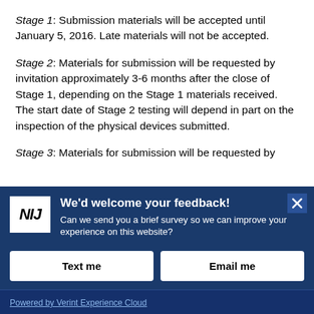Stage 1: Submission materials will be accepted until January 5, 2016. Late materials will not be accepted.
Stage 2: Materials for submission will be requested by invitation approximately 3-6 months after the close of Stage 1, depending on the Stage 1 materials received. The start date of Stage 2 testing will depend in part on the inspection of the physical devices submitted.
Stage 3: Materials for submission will be requested by
[Figure (other): NIJ feedback survey modal dialog with dark blue background. Contains NIJ logo (white box with bold italic NIJ text), title 'We'd welcome your feedback!', subtitle 'Can we send you a brief survey so we can improve your experience on this website?', two buttons labeled 'Text me' and 'Email me', and a footer with 'Powered by Verint Experience Cloud' link. An X close button appears in the top right corner.]